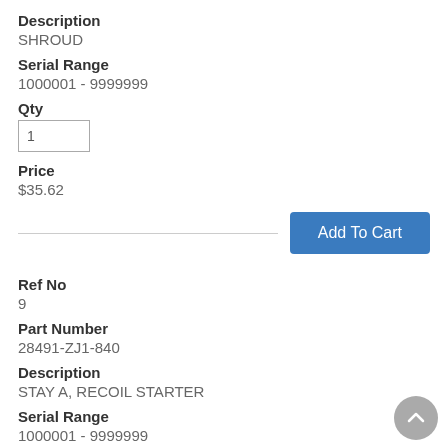Description
SHROUD
Serial Range
1000001 - 9999999
Qty
1
Price
$35.62
Add To Cart
Ref No
9
Part Number
28491-ZJ1-840
Description
STAY A, RECOIL STARTER
Serial Range
1000001 - 9999999
Qty
1